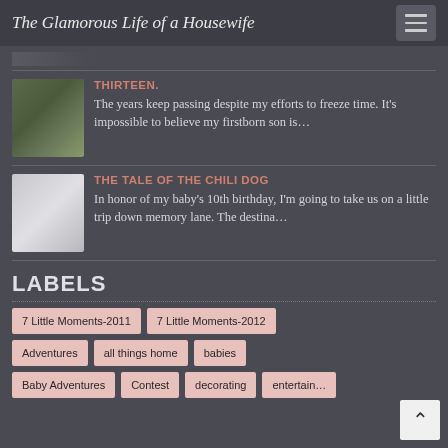The Glamorous Life of a Housewife
[Figure (photo): Thumbnail photo of a boy in formal wear near a car]
THIRTEEN.
The years keep passing despite my efforts to freeze time. It’s impossible to believe my firstborn son is…
[Figure (photo): White/light colored thumbnail image]
THE TALE OF THE CHILI DOG
In honor of my baby’s 10th birthday, I’m going to take us on a little trip down memory lane. The destina…
LABELS
7 Little Moments-2011
7 Little Moments-2012
Adventures
all things home
babies
Baby Adventures
Contest
decorating
entertaining